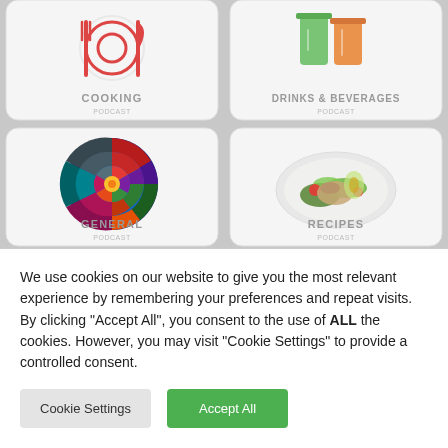[Figure (screenshot): Grid of four category cards: COOKING (top-left with red fork and plate icon), DRINKS & BEVERAGES (top-right with green and orange juice glasses), GENERAL (bottom-left with colorful circular abstract art), RECIPES (bottom-right with a salad plate photo)]
We use cookies on our website to give you the most relevant experience by remembering your preferences and repeat visits. By clicking "Accept All", you consent to the use of ALL the cookies. However, you may visit "Cookie Settings" to provide a controlled consent.
Cookie Settings
Accept All